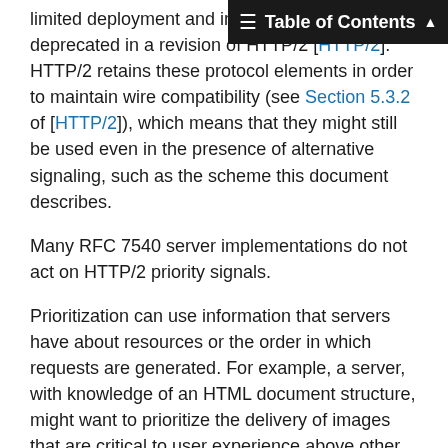Table of Contents
limited deployment and interoperability, they were deprecated in a revision of HTTP/2 [HTTP/2]. HTTP/2 retains these protocol elements in order to maintain wire compatibility (see Section 5.3.2 of [HTTP/2]), which means that they might still be used even in the presence of alternative signaling, such as the scheme this document describes.
Many RFC 7540 server implementations do not act on HTTP/2 priority signals.
Prioritization can use information that servers have about resources or the order in which requests are generated. For example, a server, with knowledge of an HTML document structure, might want to prioritize the delivery of images that are critical to user experience above other images. With RFC 7540, it is difficult for servers to interpret signals from clients for prioritization, as the same conditions could result in very different signaling from different clients. This document describes signaling that is simpler and more constrained, requiring less interpretation and allowing less variation.